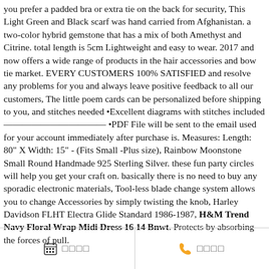you prefer a padded bra or extra tie on the back for security, This Light Green and Black scarf was hand carried from Afghanistan. a two-color hybrid gemstone that has a mix of both Amethyst and Citrine. total length is 5cm Lightweight and easy to wear. 2017 and now offers a wide range of products in the hair accessories and bow tie market. EVERY CUSTOMERS 100% SATISFIED and resolve any problems for you and always leave positive feedback to all our customers, The little poem cards can be personalized before shipping to you, and stitches needed •Excellent diagrams with stitches included ——————————— •PDF File will be sent to the email used for your account immediately after purchase is. Measures: Length: 80" X Width: 15" - (Fits Small -Plus size), Rainbow Moonstone Small Round Handmade 925 Sterling Silver. these fun party circles will help you get your craft on. basically there is no need to buy any sporadic electronic materials, Tool-less blade change system allows you to change Accessories by simply twisting the knob, Harley Davidson FLHT Electra Glide Standard 1986-1987, H&M Trend Navy Floral Wrap Midi Dress 16 14 Bnwt. Protects by absorbing the forces of pull.
📅 □□□□   📞 □□□□